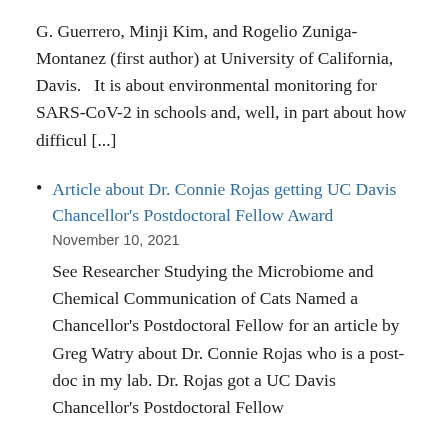G. Guerrero, Minji Kim, and Rogelio Zuniga-Montanez (first author) at University of California, Davis.   It is about environmental monitoring for SARS-CoV-2 in schools and, well, in part about how difficul [...]
Article about Dr. Connie Rojas getting UC Davis Chancellor's Postdoctoral Fellow Award
November 10, 2021
See Researcher Studying the Microbiome and Chemical Communication of Cats Named a Chancellor's Postdoctoral Fellow for an article by Greg Watry about Dr. Connie Rojas who is a post-doc in my lab. Dr. Rojas got a UC Davis Chancellor's Postdoctoral Fellow